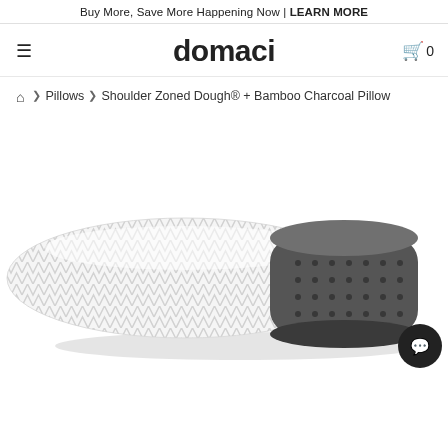Buy More, Save More Happening Now | LEARN MORE
domaci
🏠 › Pillows › Shoulder Zoned Dough® + Bamboo Charcoal Pillow
[Figure (photo): Product photo of a Shoulder Zoned Dough + Bamboo Charcoal Pillow — a contoured memory foam pillow with white fabric cover showing geometric pattern on the left, and dark grey perforated foam exposed on the right side, shown in black and white.]